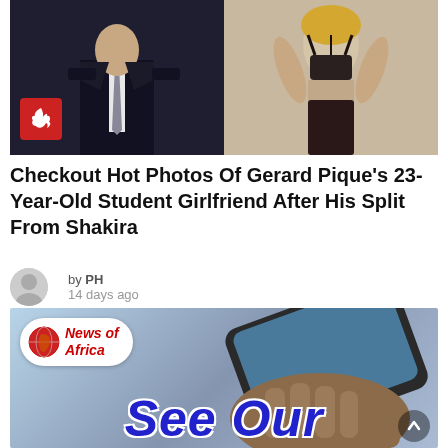[Figure (photo): Two photos side by side: left shows a man in a dark suit and tie, right shows a woman in a dark bikini/lingerie. A red badge with a flame icon is overlaid on the bottom-left corner.]
Checkout Hot Photos Of Gerard Pique's 23-Year-Old Student Girlfriend After His Split From Shakira
by PH
14 days ago
[Figure (photo): Banner image showing a hand holding a smartphone, with a 'News of Africa' logo bubble on the left and large blue italic text reading 'See Our' at the bottom.]